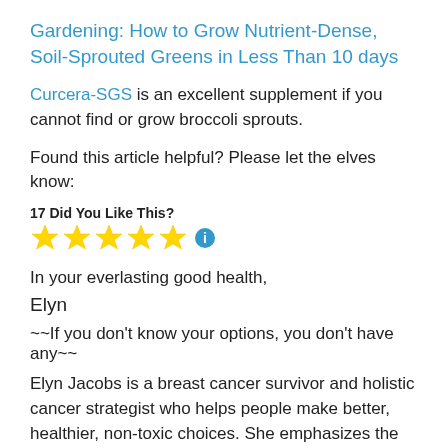Gardening: How to Grow Nutrient-Dense, Soil-Sprouted Greens in Less Than 10 days
Curcera-SGS is an excellent supplement if you cannot find or grow broccoli sprouts.
Found this article helpful? Please let the elves know:
17 Did You Like This? ★★★★★ ℹ
In your everlasting good health,
Elyn
~~If you don't know your options, you don't have any~~
Elyn Jacobs is a breast cancer survivor and holistic cancer strategist who helps people make better, healthier, non-toxic choices. She emphasizes the critical nature of